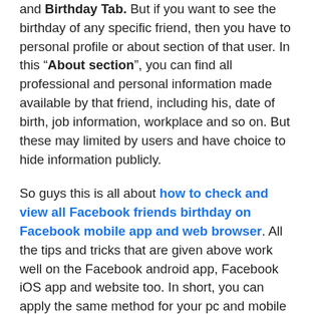and Birthday Tab. But if you want to see the birthday of any specific friend, then you have to personal profile or about section of that user. In this “About section”, you can find all professional and personal information made available by that friend, including his, date of birth, job information, workplace and so on. But these may limited by users and have choice to hide information publicly.
So guys this is all about how to check and view all Facebook friends birthday on Facebook mobile app and web browser. All the tips and tricks that are given above work well on the Facebook android app, Facebook iOS app and website too. In short, you can apply the same method for your pc and mobile to birthdays of your friends. Moreover, if you are thinking that